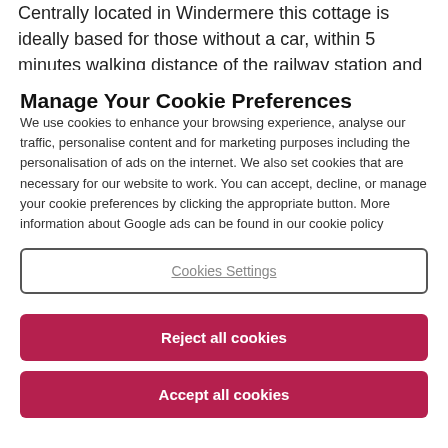Centrally located in Windermere this cottage is ideally based for those without a car, within 5 minutes walking distance of the railway station and many bus routes
Manage Your Cookie Preferences
We use cookies to enhance your browsing experience, analyse our traffic, personalise content and for marketing purposes including the personalisation of ads on the internet. We also set cookies that are necessary for our website to work. You can accept, decline, or manage your cookie preferences by clicking the appropriate button. More information about Google ads can be found in our cookie policy
Cookies Settings
Reject all cookies
Accept all cookies